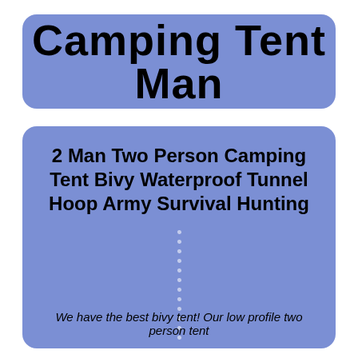Camping Tent Man
2 Man Two Person Camping Tent Bivy Waterproof Tunnel Hoop Army Survival Hunting
We have the best bivy tent! Our low profile two person tent